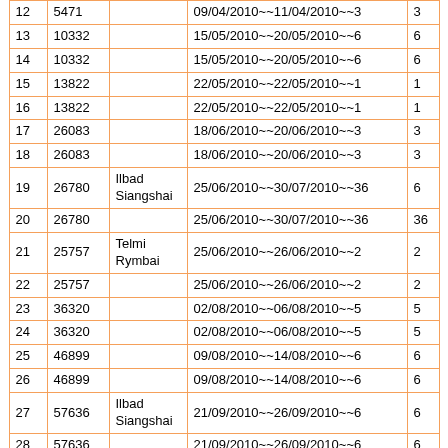|  |  |  |  |  |
| --- | --- | --- | --- | --- |
| 12 | 5471 |  | 09/04/2010~~11/04/2010~~3 | 3 |
| 13 | 10332 |  | 15/05/2010~~20/05/2010~~6 | 6 |
| 14 | 10332 |  | 15/05/2010~~20/05/2010~~6 | 6 |
| 15 | 13822 |  | 22/05/2010~~22/05/2010~~1 | 1 |
| 16 | 13822 |  | 22/05/2010~~22/05/2010~~1 | 1 |
| 17 | 26083 |  | 18/06/2010~~20/06/2010~~3 | 3 |
| 18 | 26083 |  | 18/06/2010~~20/06/2010~~3 | 3 |
| 19 | 26780 | Ilbad Siangshai | 25/06/2010~~30/07/2010~~36 | 6 |
| 20 | 26780 |  | 25/06/2010~~30/07/2010~~36 | 36 |
| 21 | 25757 | Telmi Rymbai | 25/06/2010~~26/06/2010~~2 | 2 |
| 22 | 25757 |  | 25/06/2010~~26/06/2010~~2 | 2 |
| 23 | 36320 |  | 02/08/2010~~06/08/2010~~5 | 5 |
| 24 | 36320 |  | 02/08/2010~~06/08/2010~~5 | 5 |
| 25 | 46899 |  | 09/08/2010~~14/08/2010~~6 | 6 |
| 26 | 46899 |  | 09/08/2010~~14/08/2010~~6 | 6 |
| 27 | 57636 | Ilbad Siangshai | 21/09/2010~~26/09/2010~~6 | 6 |
| 28 | 57636 |  | 21/09/2010~~26/09/2010~~6 | 6 |
| 29 | 56856 | Telmi Rymbai | 21/09/2010~~21/09/2010~~1 | 1 |
| 30 | 56856 |  | 21/09/2010~~21/09/2010~~1 | 1 |
| 31 | 58770 |  | 08/11/2010~~11/11/2010~~4 | 4 |
| 32 | 58770 |  | 08/11/2010~~11/11/2010~~4 | 4 |